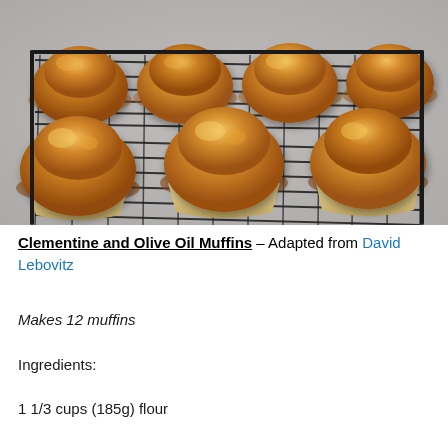[Figure (photo): Twelve golden-brown clementine and olive oil muffins in paper liners arranged on a black wire cooling rack, photographed from a slight angle against a grey background.]
Clementine and Olive Oil Muffins – Adapted from David Lebovitz
Makes 12 muffins
Ingredients:
1 1/3 cups (185g) flour